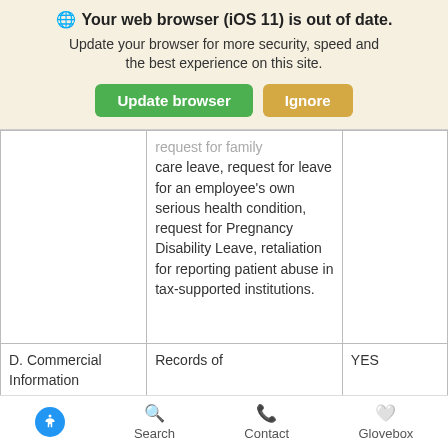[Figure (screenshot): Browser update notification banner with globe icon, bold title 'Your web browser (iOS 11) is out of date.', subtitle text, green 'Update browser' button and tan 'Ignore' button]
|  | request for family care leave, request for leave for an employee's own serious health condition, request for Pregnancy Disability Leave, retaliation for reporting patient abuse in tax-supported institutions. |  |
| D. Commercial
Information | Records of | YES |
[Figure (screenshot): Bottom navigation bar with accessibility icon (blue circle with person), Search, Contact, and Glovebox nav items]